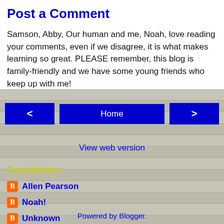Post a Comment
Samson, Abby, Our human and me, Noah, love reading your comments, even if we disagree, it is what makes learning so great. PLEASE remember, this blog is family-friendly and we have some young friends who keep up with me!
< Home >
View web version
Contributors
Allen Pearson
Noah!
Unknown
Powered by Blogger.